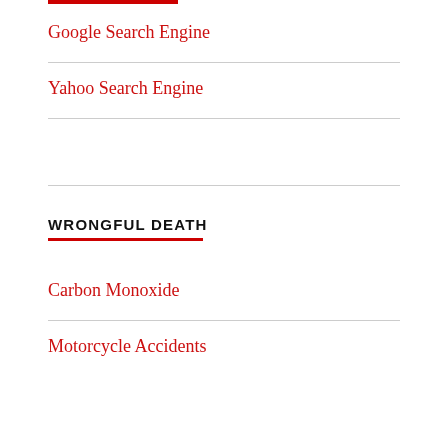Google Search Engine
Yahoo Search Engine
WRONGFUL DEATH
Carbon Monoxide
Motorcycle Accidents